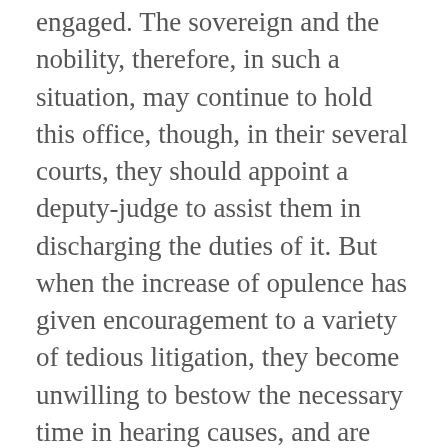engaged. The sovereign and the nobility, therefore, in such a situation, may continue to hold this office, though, in their several courts, they should appoint a deputy-judge to assist them in discharging the duties of it. But when the increase of opulence has given encouragement to a variety of tedious litigation, they become unwilling to bestow the necessary time in hearing causes, and are therefore induced to devolve the whole business upon inferior judges, who acquire by degrees the several branches of the judicial power, and are obliged to hold regular courts for the benefit of the inhabitants. Thus the exercise of jurisdiction becomes a separate employment, and is committed to an order of